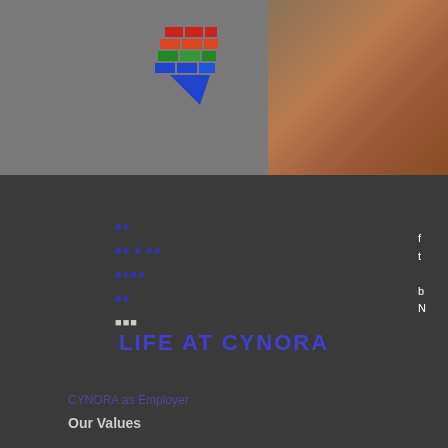[Figure (logo): Cynora logo - colorful geometric flag/shield shape with red, green, blue stripes]
[Figure (photo): Close-up photo of a hand pointing or gesturing, visible in top right corner]
■■
■■ ■ ■■
■■■■
■■
■■■
LIFE AT CYNORA
CYNORA as Employer
Our Values